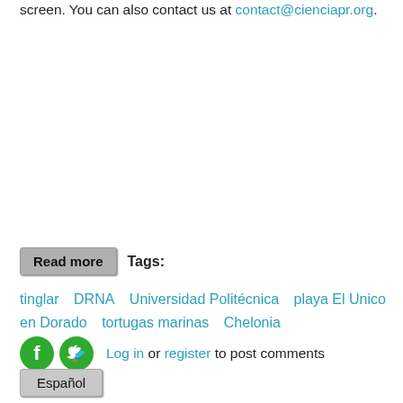screen. You can also contact us at contact@cienciapr.org.
Read more   Tags:
tinglar   DRNA   Universidad Politécnica   playa El Unico en Dorado   tortugas marinas   Chelonia
Log in or register to post comments
Español